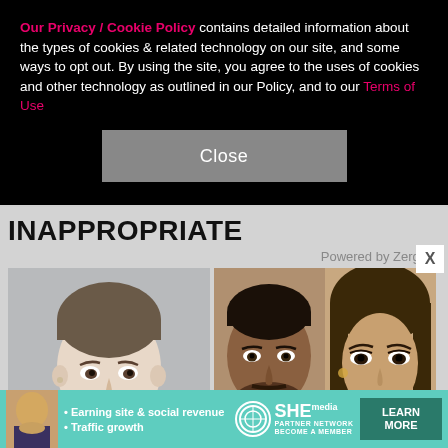Our Privacy / Cookie Policy contains detailed information about the types of cookies & related technology on our site, and some ways to opt out. By using the site, you agree to the uses of cookies and other technology as outlined in our Policy, and to our Terms of Use
Close
INAPPROPRIATE
Powered by ZergNet
[Figure (photo): Photo of a young boy in a suit looking upward]
[Figure (photo): Photos of a man in a tuxedo and a woman side by side]
[Figure (infographic): SHE Partner Network advertisement banner with bullet points: Earning site & social revenue, Traffic growth. LEARN MORE button.]